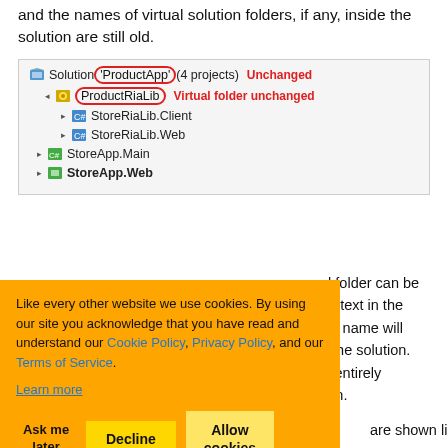and the names of virtual solution folders, if any, inside the solution are still old.
[Figure (screenshot): Visual Studio Solution Explorer showing: Solution 'ProductApp' (4 projects) labeled Unchanged, ProductRiaLib virtual folder labeled Virtual folder unchanged, StoreRiaLib.Client, StoreRiaLib.Web, StoreApp.Main, StoreApp.Web (bold)]
[Figure (screenshot): Cookie consent banner with orange background. Text: 'Like every other website we use cookies. By using our site you acknowledge that you have read and understand our Cookie Policy, Privacy Policy, and our Terms of Service. Learn more'. Buttons: Ask me later, Decline, Allow cookies]
al folder can be he text in the file name will g the solution. is entirely tion.
are shown like